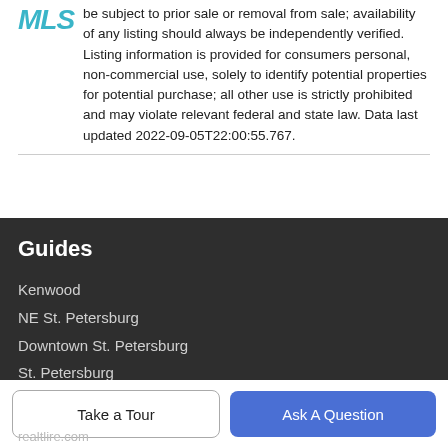be subject to prior sale or removal from sale; availability of any listing should always be independently verified. Listing information is provided for consumers personal, non-commercial use, solely to identify potential properties for potential purchase; all other use is strictly prohibited and may violate relevant federal and state law. Data last updated 2022-09-05T22:00:55.767.
Guides
Kenwood
NE St. Petersburg
Downtown St. Petersburg
St. Petersburg
St. Pete Beach
More Guides >
Take a Tour
Ask A Question